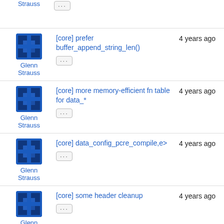Glenn Strauss | ... | (partial top row)
Glenn Strauss | [core] prefer buffer_append_string_len() | 4 years ago
Glenn Strauss | [core] more memory-efficient fn table for data_* | 4 years ago
Glenn Strauss | [core] data_config_pcre_compile,e> | 4 years ago
Glenn Strauss | [core] some header cleanup | 4 years ago
Glenn Strauss | [core] adjust parser for valid variable expansion | 5 years ago